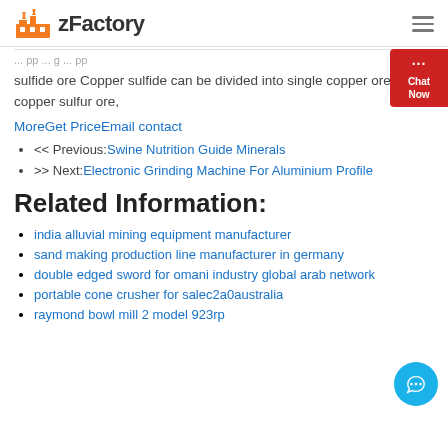zFactory
sulfide ore Copper sulfide can be divided into single copper ore, copper sulfur ore,
MoreGet PriceEmail contact
<< Previous:Swine Nutrition Guide Minerals
>> Next:Electronic Grinding Machine For Aluminium Profile
Related Information:
india alluvial mining equipment manufacturer
sand making production line manufacturer in germany
double edged sword for omani industry global arab network
portable cone crusher for salec2a0australia
raymond bowl mill 2 model 923rp